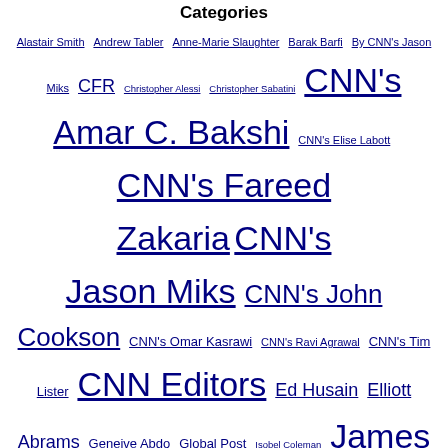Categories
Alastair Smith Andrew Tabler Anne-Marie Slaughter Barak Barfi By CNN's Jason Miks CFR Christopher Alessi Christopher Sabatini CNN's Amar C. Bakshi CNN's Elise Labott CNN's Fareed Zakaria CNN's Jason Miks CNN's John Cookson CNN's Omar Kasrawi CNN's Ravi Agrawal CNN's Tim Lister CNN Editors Ed Husain Elliott Abrams Geneive Abdo Global Post Isobel Coleman James M. Lindsay John Kao Joseph Nye Juan Cole Kenneth Rogoff Martin Feldstein Meir Javedanfar Micah Zenko Michael O'Hanlon Michael Spence Minxin Pei Mohamed El-Erian Peter Singer Richard Haass Robert Danin Sami Moubayed Shashank Joshi Soner Cagaptay Stephen S. Roach Steven A. Cook Stewart M. Patrick Stewart Patrick TIME's Tony Karon
Categories
Select Category dropdown
@fareedzakaria on Twitter
How the great filmmaker Francis Ford Coppola cast Marlon Brando in "The Godfather" Tomorrow, Sat. Aug. 20, tune i…twitter.com/i/web/status/1… t8